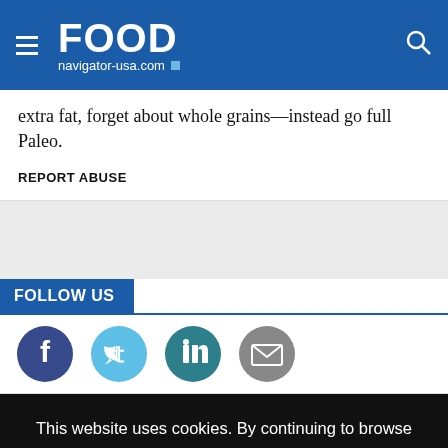FOOD navigator-usa.com
extra fat, forget about whole grains—instead go full Paleo.
REPORT ABUSE
FOLLOW US
[Figure (illustration): Social media icons: Facebook (dark blue circle), Twitter (light blue circle), LinkedIn (teal circle), Email (gray circle)]
This website uses cookies. By continuing to browse our website, you are agreeing to our use of cookies. You can learn more about cookies by visiting our privacy & cookies policy page.
I Agree